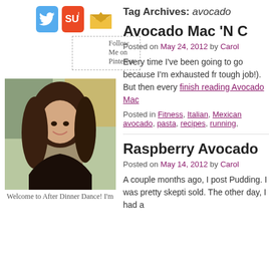[Figure (infographic): Social media icons: Twitter (blue bird), StumbleUpon (orange SU), and email/newsletter (gold envelope) icons in a row]
[Figure (photo): A broken/missing image placeholder labeled 'Follow Me on Pinterest']
[Figure (photo): Profile photo of a young woman with long dark hair, smiling, wearing a dark top, in front of a colorful painting background]
Welcome to After Dinner Dance! I'm
Tag Archives: avocado
Avocado Mac 'N C
Posted on May 24, 2012 by Carol
Every time I've been going to go because I'm exhausted fr tough job!). But then every
finish reading Avocado Mac
Posted in Fitness, Italian, Mexican avocado, pasta, recipes, running,
Raspberry Avocado
Posted on May 14, 2012 by Carol
A couple months ago, I post Pudding. I was pretty skepti sold. The other day, I had a